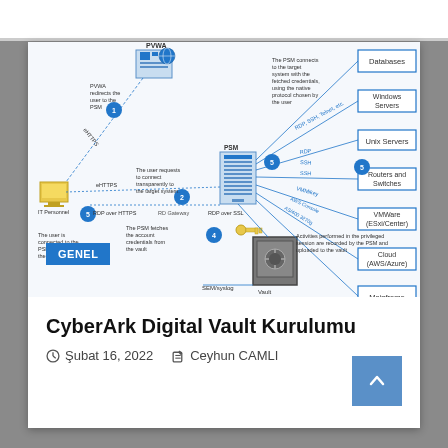[Figure (schematic): CyberArk PSM (Privileged Session Manager) architecture diagram showing how a user connects to target systems via PVWA, PSM gateway, and vault. Includes numbered steps, connection types (RDP over HTTPS, RDP over SSL), and target system types: Windows Servers, Unix Servers, Routers and Switches, VMware (vSAN/Center), Cloud (AWS/Azure), Mainframe.]
CyberArk Digital Vault Kurulumu
Şubat 16, 2022   Ceyhun CAMLI